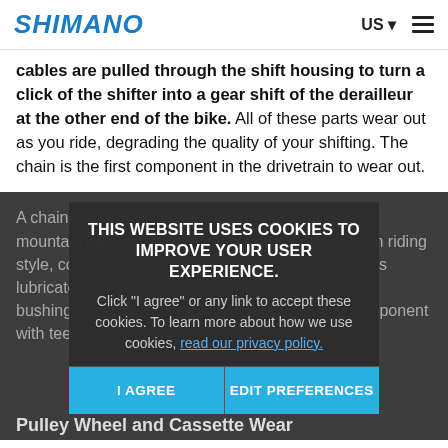SHIMANO | US
cables are pulled through the shift housing to turn a click of the shifter into a gear shift of the derailleur at the other end of the bike. All of these parts wear out as you ride, degrading the quality of your shifting. The chain is the first component in the drivetrain to wear out.
A chain will typically last for hundreds of miles on a mountain bike, but how many hundreds depends on riding style, conditions, gearing, and how often the chain is lubricated. As you ride, metal from the chain's roller bushing wears away, creating a poor fit on any component with teeth on it.
THIS WEBSITE USES COOKIES TO IMPROVE YOUR USER EXPERIENCE. Click "I agree" or any link to accept these cookies. To learn more about how we use cookies, read our privacy policy.
Pulley Wheel and Cassette Wear